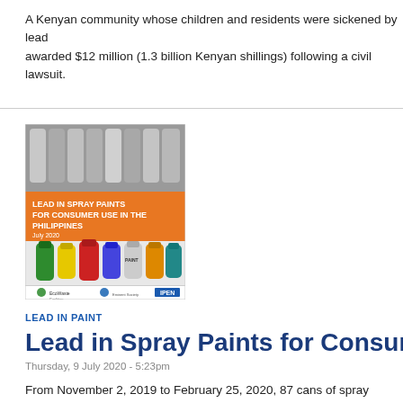A Kenyan community whose children and residents were sickened by lead awarded $12 million (1.3 billion Kenyan shillings) following a civil lawsuit.
[Figure (photo): Cover of report titled 'Lead in Spray Paints for Consumer Use in the Philippines', July 2020, showing colorful spray paint cans, with logos of EcoWaste Coalition, another organization, and IPEN at the bottom.]
LEAD IN PAINT
Lead in Spray Paints for Consumer U
Thursday, 9 July 2020 - 5:23pm
From November 2, 2019 to February 25, 2020, 87 cans of spray paints into